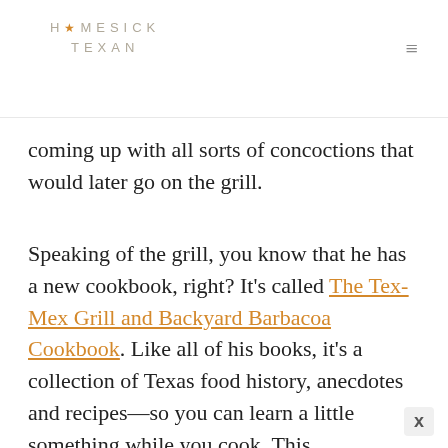HOMESICK TEXAN
coming up with all sorts of concoctions that would later go on the grill.
Speaking of the grill, you know that he has a new cookbook, right? It's called The Tex-Mex Grill and Backyard Barbacoa Cookbook. Like all of his books, it's a collection of Texas food history, anecdotes and recipes—so you can learn a little something while you cook. This